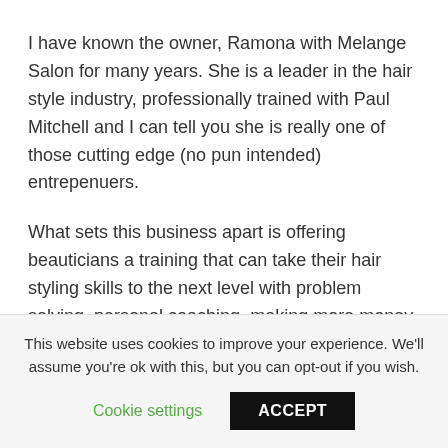I have known the owner, Ramona with Melange Salon for many years. She is a leader in the hair style industry, professionally trained with Paul Mitchell and I can tell you she is really one of those cutting edge (no pun intended) entrepenuers.
What sets this business apart is offering beauticians a training that can take their hair styling skills to the next level with problem solving, personal coaching, making more money from your art and 1 to 1 experience form a leader in the business.
This website uses cookies to improve your experience. We'll assume you're ok with this, but you can opt-out if you wish.
Cookie settings | ACCEPT